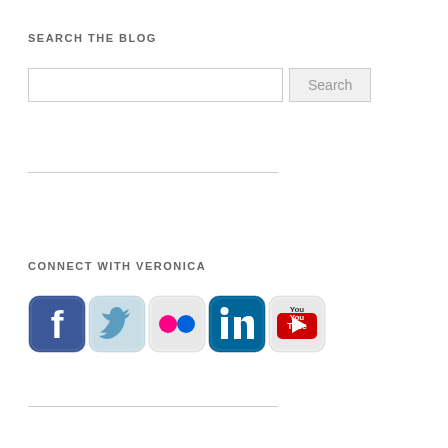SEARCH THE BLOG
[Figure (screenshot): Search input box with Search button]
[Figure (infographic): Horizontal divider line]
CONNECT WITH VERONICA
[Figure (illustration): Social media icons: Facebook, Twitter, Flickr, LinkedIn, YouTube]
[Figure (infographic): Horizontal divider line at bottom]